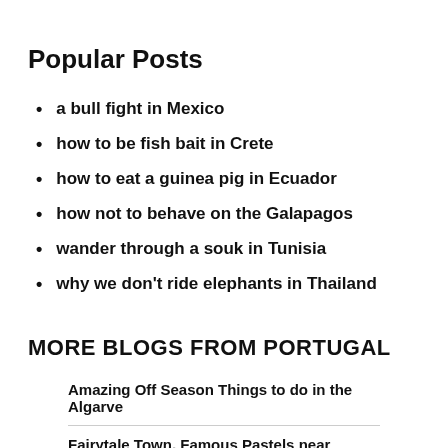Popular Posts
a bull fight in Mexico
how to be fish bait in Crete
how to eat a guinea pig in Ecuador
how not to behave on the Galapagos
wander through a souk in Tunisia
why we don’t ride elephants in Thailand
MORE BLOGS FROM PORTUGAL
Amazing Off Season Things to do in the Algarve
Fairytale Town, Famous Pastels near Lisbon,